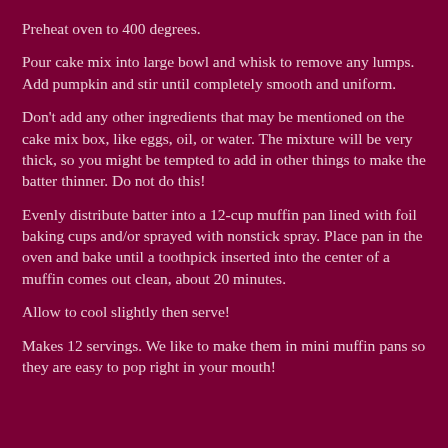Preheat oven to 400 degrees.
Pour cake mix into large bowl and whisk to remove any lumps. Add pumpkin and stir until completely smooth and uniform.
Don’t add any other ingredients that may be mentioned on the cake mix box, like eggs, oil, or water. The mixture will be very thick, so you might be tempted to add in other things to make the batter thinner. Do not do this!
Evenly distribute batter into a 12-cup muffin pan lined with foil baking cups and/or sprayed with nonstick spray. Place pan in the oven and bake until a toothpick inserted into the center of a muffin comes out clean, about 20 minutes.
Allow to cool slightly then serve!
Makes 12 servings. We like to make them in mini muffin pans so they are easy to pop right in your mouth!